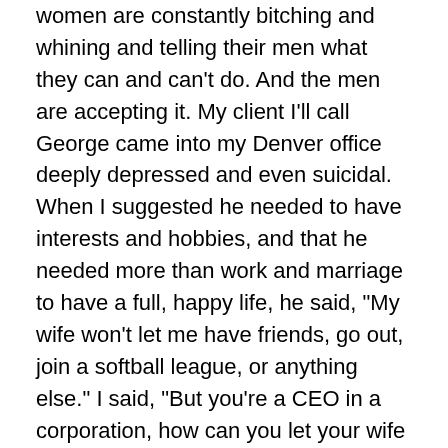women are constantly bitching and whining and telling their men what they can and can't do. And the men are accepting it. My client I'll call George came into my Denver office deeply depressed and even suicidal. When I suggested he needed to have interests and hobbies, and that he needed more than work and marriage to have a full, happy life, he said, "My wife won't let me have friends, go out, join a softball league, or anything else." I said, "But you're a CEO in a corporation, how can you let your wife control you like that?" He told me that he believes it is his duty to "be a good husband and keep her happy." Women used to lose their identities in their relationships (and some still do of course), but now men are doing the same thing. What happened here? Did the feminist pendulum swing too far? The old-time macho man was way more insecure than we knew. The macho façade was just that – a façade covering men's insecurities. Once women